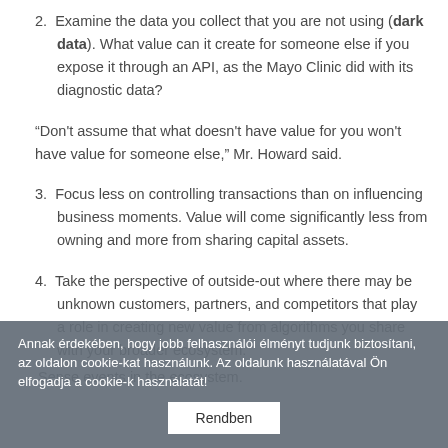2. Examine the data you collect that you are not using (dark data). What value can it create for someone else if you expose it through an API, as the Mayo Clinic did with its diagnostic data?
“Don't assume that what doesn't have value for you won't have value for someone else,” Mr. Howard said.
3. Focus less on controlling transactions than on influencing business moments. Value will come significantly less from owning and more from sharing capital assets.
4. Take the perspective of outside-out where there may be unknown customers, partners, and competitors that play a role in creating new value from algorithms you share with your broader ecosystem.
Sense events in the ecosystem.
Annak érdekében, hogy jobb felhasználói élményt tudjunk biztosítani, az oldalon cookie-kat használunk. Az oldalunk használatával Ön elfogadja a cookie-k használatát!